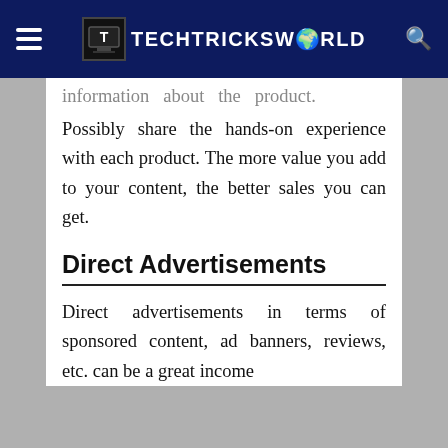TECHTRICKSWORLD
information about the product. Possibly share the hands-on experience with each product. The more value you add to your content, the better sales you can get.
Direct Advertisements
Direct advertisements in terms of sponsored content, ad banners, reviews, etc. can be a great income